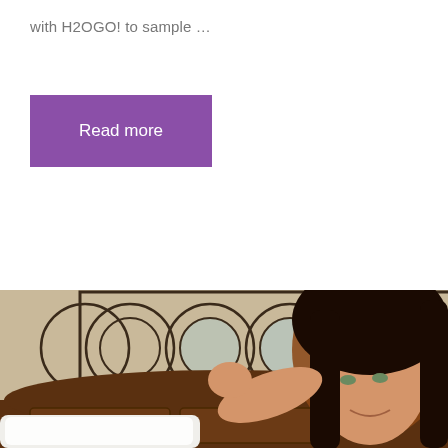with H2OGO! to sample …
Read more
[Figure (photo): A woman with dark hair lying in a hotel bed, pointing toward the camera, with a decorative metal wall art featuring overlapping circles above a dark wood headboard in the background.]